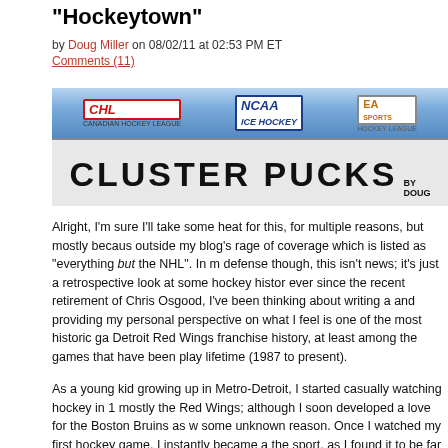"Hockeytown"
by Doug Miller on 08/02/11 at 02:53 PM ET
Comments (11)
[Figure (illustration): Cluster Pucks blog banner showing CHL, NCAA Ice Hockey, and EA Sports Hockey League logos above large bold text reading 'CLUSTER PUCKS by Doug']
Alright, I'm sure I'll take some heat for this, for multiple reasons, but mostly because outside my blog's rage of coverage which is listed as "everything but the NHL". In my defense though, this isn't news; it's just a retrospective look at some hockey history; ever since the recent retirement of Chris Osgood, I've been thinking about writing a and providing my personal perspective on what I feel is one of the most historic ga Detroit Red Wings franchise history, at least among the games that have been pla lifetime (1987 to present).
As a young kid growing up in Metro-Detroit, I started casually watching hockey in 1 mostly the Red Wings; although I soon developed a love for the Boston Bruins as w some unknown reason. Once I watched my first hockey game, I instantly became a the sport, as I found it to be far more entertaining and exciting than football, baseb basketball. I quickly learned how to skate and then starting playing hockey, but I st consider my young self much more than a moderate fan of hockey… until May 16, when St. Louis played Detroit in Game 7 of the Western Conference Semi-Finals.